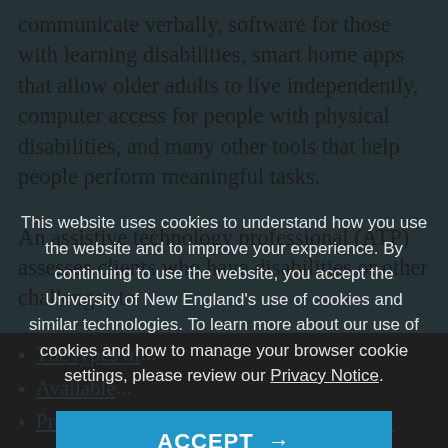communicate verbally, software for those with learning disabilities, smart home apps that allow older adults to live independently, computer access for people with physical disabilities, and many other tools that help people perform meaningful tasks.
An assistive technology professional (ATP) assesses clients who have disabilities or other challenges to determine if they would benefit from an assistive
This website uses cookies to understand how you use the website and to improve your experience. By continuing to use the website, you accept the University of New England's use of cookies and similar technologies. To learn more about our use of cookies and how to manage your browser cookie settings, please review our Privacy Notice.
ACCEPT →
The types of...
Available...
Preparation for certification as an assistive...